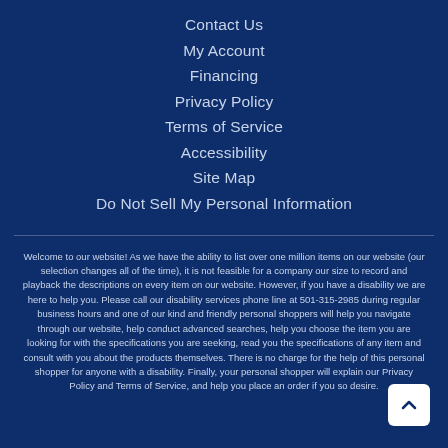Contact Us
My Account
Financing
Privacy Policy
Terms of Service
Accessibility
Site Map
Do Not Sell My Personal Information
Welcome to our website! As we have the ability to list over one million items on our website (our selection changes all of the time), it is not feasible for a company our size to record and playback the descriptions on every item on our website. However, if you have a disability we are here to help you. Please call our disability services phone line at 501-315-2985 during regular business hours and one of our kind and friendly personal shoppers will help you navigate through our website, help conduct advanced searches, help you choose the item you are looking for with the specifications you are seeking, read you the specifications of any item and consult with you about the products themselves. There is no charge for the help of this personal shopper for anyone with a disability. Finally, your personal shopper will explain our Privacy Policy and Terms of Service, and help you place an order if you so desire.